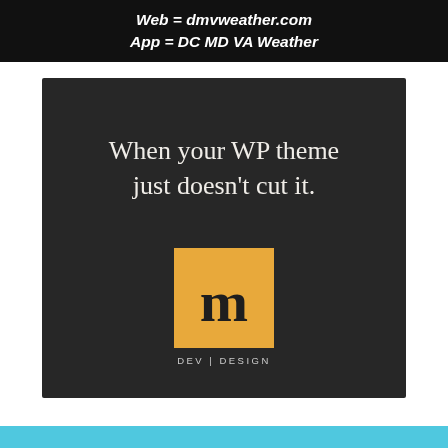Web = dmvweather.com
App = DC MD VA Weather
[Figure (advertisement): Dark square advertisement with serif white text reading 'When your WP theme just doesn't cut it.' and an orange square logo with bold letter 'm' and text 'DEV | DESIGN' below]
[Figure (other): Cyan/teal decorative bar at the bottom of the page]